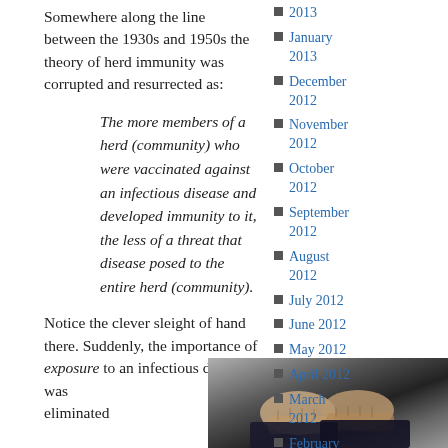Somewhere along the line between the 1930s and 1950s the theory of herd immunity was corrupted and resurrected as:
The more members of a herd (community) who were vaccinated against an infectious disease and developed immunity to it, the less of a threat that disease posed to the entire herd (community).
Notice the clever sleight of hand there. Suddenly, the importance of exposure to an infectious disease was eliminated
2013
January 2013
December 2012
November 2012
October 2012
September 2012
August 2012
July 2012
June 2012
May 2012
April 2012
March 2012
February
[Figure (photo): Photo of hands/fists, appears to show someone being injected or a close-up of hands]